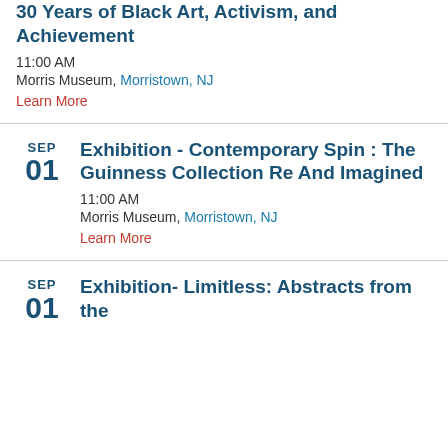30 Years of Black Art, Activism, and Achievement
11:00 AM
Morris Museum, Morristown, NJ
Learn More
Exhibition - Contemporary Spin : The Guinness Collection Re And Imagined
11:00 AM
Morris Museum, Morristown, NJ
Learn More
Exhibition- Limitless: Abstracts from the